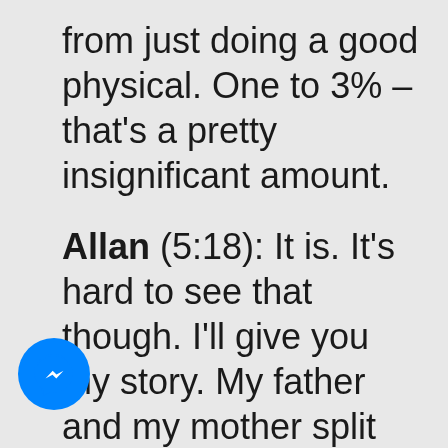from just doing a good physical. One to 3% – that's a pretty insignificant amount.
Allan (5:18): It is. It's hard to see that though. I'll give you my story. My father and my mother split up when I was very, very young. So I never really spent time with my father or knew much about
[Figure (logo): Facebook Messenger logo icon — blue circle with white lightning bolt chat bubble]